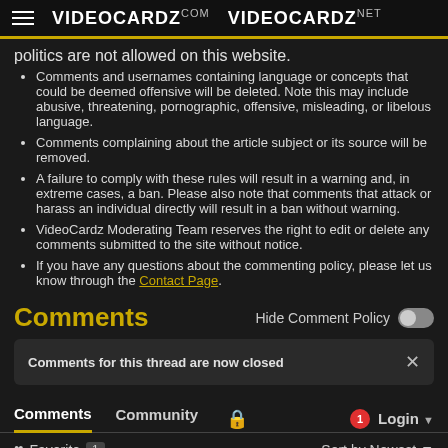VIDEOCARDZ.COM  VIDEOCARDZ.NET
politics are not allowed on this website.
Comments and usernames containing language or concepts that could be deemed offensive will be deleted. Note this may include abusive, threatening, pornographic, offensive, misleading, or libelous language.
Comments complaining about the article subject or its source will be removed.
A failure to comply with these rules will result in a warning and, in extreme cases, a ban. Please also note that comments that attack or harass an individual directly will result in a ban without warning.
VideoCardz Moderating Team reserves the right to edit or delete any comments submitted to the site without notice.
If you have any questions about the commenting policy, please let us know through the Contact Page.
Comments
Hide Comment Policy
Comments for this thread are now closed
Comments  Community  Login
♡ Favorite  1  Sort by Newest
Spearblade